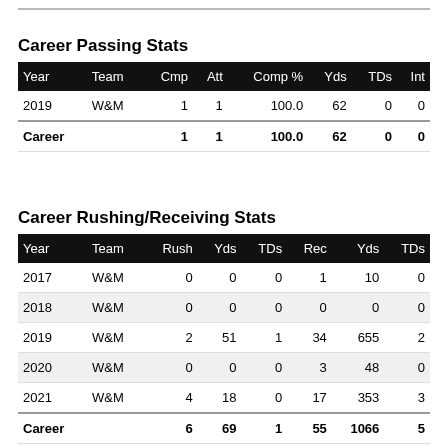Career Passing Stats
| Year | Team | Cmp | Att | Comp % | Yds | TDs | Int |
| --- | --- | --- | --- | --- | --- | --- | --- |
| 2019 | W&M | 1 | 1 | 100.0 | 62 | 0 | 0 |
| Career |  | 1 | 1 | 100.0 | 62 | 0 | 0 |
Career Rushing/Receiving Stats
| Year | Team | Rush | Yds | TDs | Rec | Yds | TDs |
| --- | --- | --- | --- | --- | --- | --- | --- |
| 2017 | W&M | 0 | 0 | 0 | 1 | 10 | 0 |
| 2018 | W&M | 0 | 0 | 0 | 0 | 0 | 0 |
| 2019 | W&M | 2 | 51 | 1 | 34 | 655 | 2 |
| 2020 | W&M | 0 | 0 | 0 | 3 | 48 | 0 |
| 2021 | W&M | 4 | 18 | 0 | 17 | 353 | 3 |
| Career |  | 6 | 69 | 1 | 55 | 1066 | 5 |